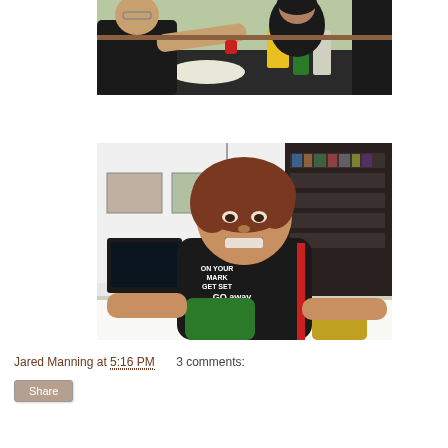[Figure (photo): Two people at an outdoor table, one reaching across to the other. Various items including a yellow cup and bottles on the table. Evening outdoor setting.]
[Figure (photo): A woman with curly reddish-brown hair wearing a dark t-shirt that reads 'ON YOUR MARK GET SET GO AWAY' holding a green bag, standing in front of a bookshelf and electronics.]
Jared Manning at 5:16 PM    3 comments:
Share